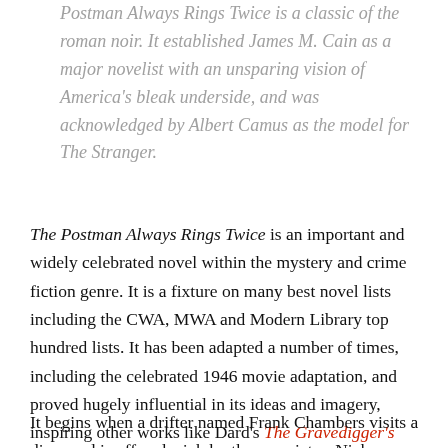Postman Always Rings Twice is a classic of the roman noir. It established James M. Cain as a major novelist with an unsparing vision of America's bleak underside, and was acknowledged by Albert Camus as the model for The Stranger.
The Postman Always Rings Twice is an important and widely celebrated novel within the mystery and crime fiction genre. It is a fixture on many best novel lists including the CWA, MWA and Modern Library top hundred lists. It has been adapted a number of times, including the celebrated 1946 movie adaptation, and proved hugely influential in its ideas and imagery, inspiring other works like Dard's The Gravedigger's Bread and Camus' The Stranger.
It begins when a drifter named Frank Chambers visits a diner and is offered a job by the proprietor, Nick